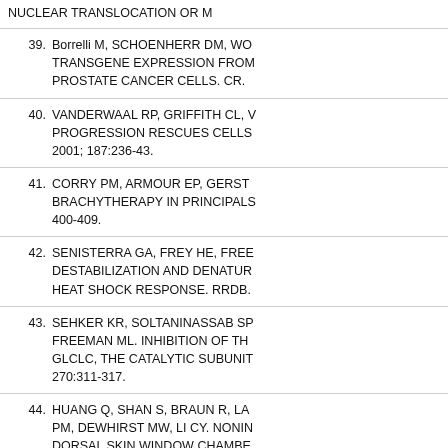(partial) NUCLEAR TRANSLOCATION OR M
39. Borrelli M, SCHOENHERR DM, WO... TRANSGENE EXPRESSION FROM PROSTATE CANCER CELLS. CR.
40. VANDERWAAL RP, GRIFFITH CL, V... PROGRESSION RESCUES CELLS... 2001; 187:236-43.
41. CORRY PM, ARMOUR EP, GERST... BRACHYTHERAPY IN PRINCIPALS... 400-409.
42. SENISTERRA GA, FREY HE, FREE... DESTABILIZATION AND DENATUR... HEAT SHOCK RESPONSE. RRDB.
43. SEHKER KR, SOLTANINASSAB SP... FREEMAN ML. INHIBITION OF TH... GLCLC, THE CATALYTIC SUBUNIT... 270:311-317.
44. HUANG Q, SHAN S, BRAUN R, LA... PM, DEWHIRST MW, LI CY. NONIN... DORSAL SKIN WINDOW CHAMBE...